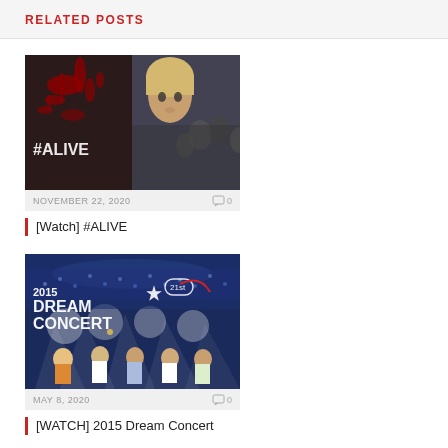RELATED POSTS
[Figure (photo): Movie poster for #ALIVE showing blood splatter on wall on left half and a person peering around a corner on right half]
NOVEMBER 22, 2020   0
[Watch] #ALIVE
[Figure (photo): Concert poster for 2015 Dream Concert 21st showing performers on stage with stadium crowd and blue lighting]
MAY 8, 2020   0
[WATCH] 2015 Dream Concert